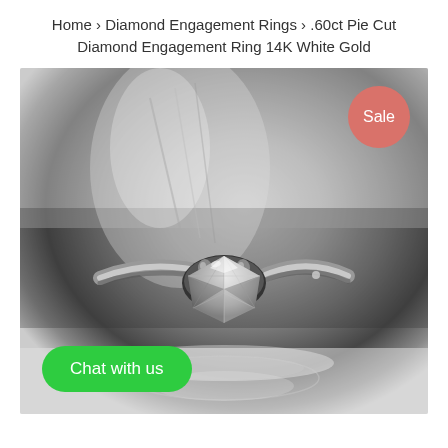Home › Diamond Engagement Rings › .60ct Pie Cut Diamond Engagement Ring 14K White Gold
[Figure (photo): Close-up photo of a diamond solitaire engagement ring with a pie cut diamond in a white gold setting, displayed on a white surface. A pink 'Sale' badge appears in the top-right corner and a green 'Chat with us' button is overlaid at the bottom-left.]